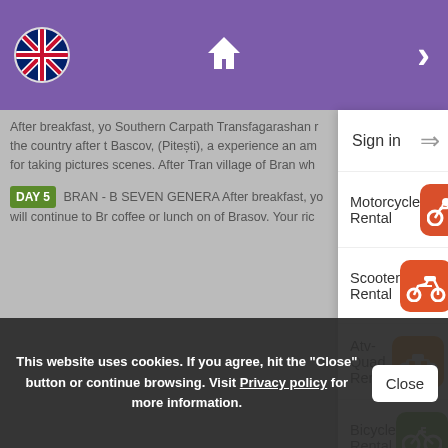[Figure (screenshot): Mobile app navigation bar with purple background, UK flag icon on the left, home icon in center, right-arrow chevron on right]
[Figure (screenshot): Background page content showing travel itinerary text (Day 5, Bran details) grayed out behind a dropdown menu overlay]
Sign in
Motorcycle Rental
Scooter Rental
Atv-Quad Rental
Bicycle Rental
This website uses cookies. If you agree, hit the "Close" button or continue browsing. Visit Privacy policy for more information.